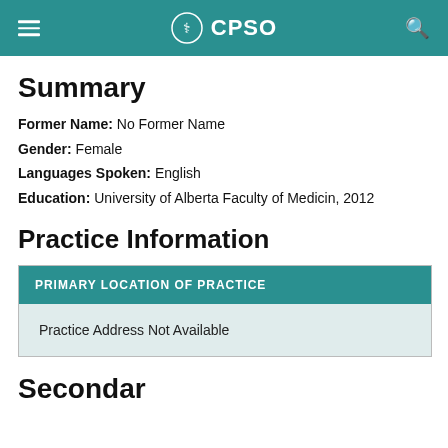CPSO
Summary
Former Name: No Former Name
Gender: Female
Languages Spoken: English
Education: University of Alberta Faculty of Medicin, 2012
Practice Information
| PRIMARY LOCATION OF PRACTICE |
| --- |
| Practice Address Not Available |
Secondary Addresses